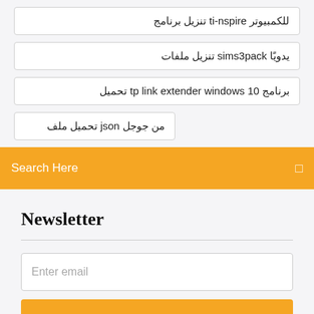للكمبيوتر ti-nspire تنزيل برنامج
يدويًا sims3pack تنزيل ملفات
برنامج tp link extender windows 10 تحميل
من جوجل json تحميل ملف
Search Here
Newsletter
Enter email